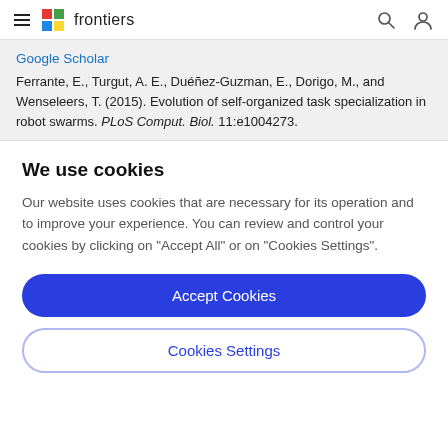frontiers
Google Scholar
Ferrante, E., Turgut, A. E., Duéñez-Guzman, E., Dorigo, M., and Wenseleers, T. (2015). Evolution of self-organized task specialization in robot swarms. PLoS Comput. Biol. 11:e1004273.
We use cookies
Our website uses cookies that are necessary for its operation and to improve your experience. You can review and control your cookies by clicking on "Accept All" or on "Cookies Settings".
Accept Cookies
Cookies Settings